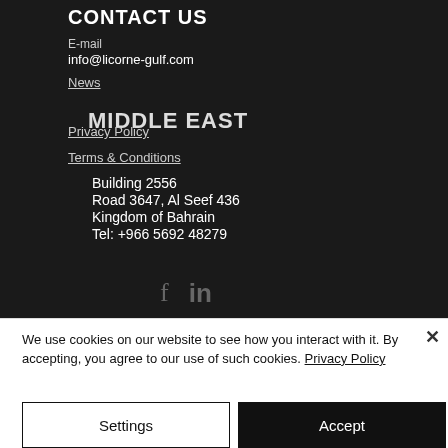CONTACT US
E-mail
info@licorne-gulf.com
News
MIDDLE EAST
Privacy Policy
Terms & Conditions
Building 2556
Road 3647, Al Seef 436
Kingdom of Bahrain
Tel: +966 5692 48279
We use cookies on our website to see how you interact with it. By accepting, you agree to our use of such cookies. Privacy Policy
Settings
Accept